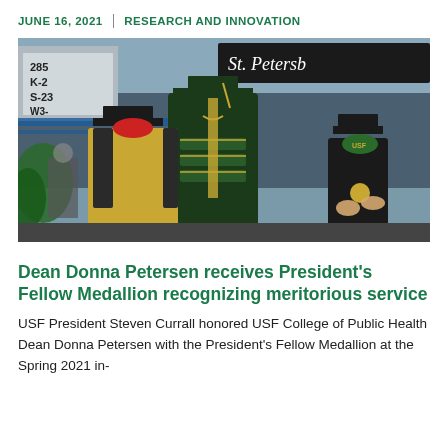JUNE 16, 2021 | RESEARCH AND INNOVATION
[Figure (photo): Two people in academic regalia and face masks at a graduation ceremony; one in green doctoral robes with gold trim faces away from viewer, the other in yellow and black robes faces forward wearing a red mask, with a third person in academic regalia clapping in the background. Sign reads 'St. Petersb...' in background.]
Dean Donna Petersen receives President's Fellow Medallion recognizing meritorious service
USF President Steven Currall honored USF College of Public Health Dean Donna Petersen with the President's Fellow Medallion at the Spring 2021 in-